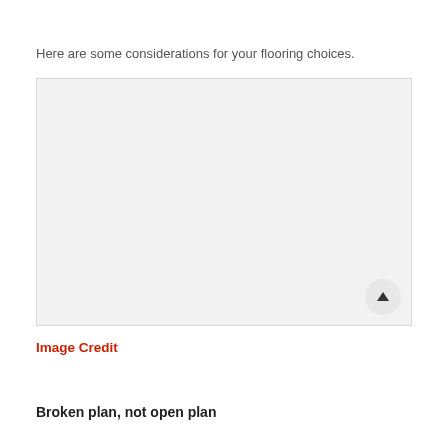…(partial title, cropped at top)…
Here are some considerations for your flooring choices.
[Figure (photo): Placeholder image box — light grey rectangle with a scroll-to-top button in the lower right corner]
Image Credit
Broken plan, not open plan